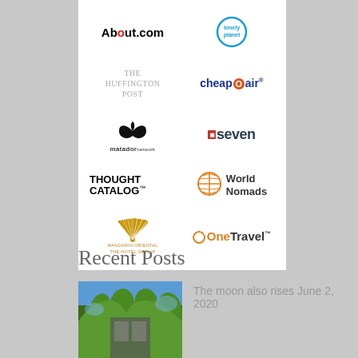[Figure (logo): Grid of brand logos: About.com, Lonely Planet, The Huffington Post, CheapOair, Matador Network, seven (magazine), Thought Catalog, World Nomads, Mandarin Oriental The Hotel Group, OneTravel]
Recent Posts
[Figure (photo): Photo of a building with trees against a blue sky]
The moon also rises June 2, 2020